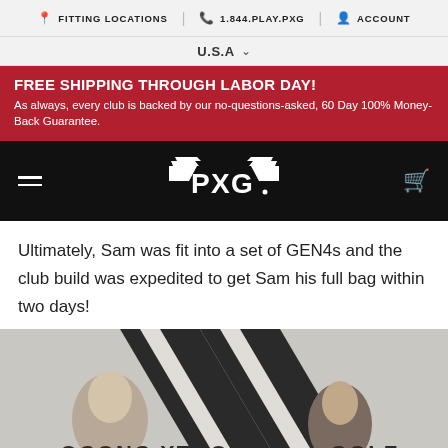FITTING LOCATIONS | 1.844.PLAY.PXG | ACCOUNT
U.S.A
FREE SHIPPING THROUGH LABOR DAY! As always, every club is backed by our no-questions-asked, 60 Day 100% Money-Back Guarantee.
[Figure (logo): PXG logo on black navbar with hamburger menu and cart icon]
Ultimately, Sam was fit into a set of GEN4s and the club build was expedited to get Sam his full bag within two days!
[Figure (photo): Two people standing in front of a large PXG logo wall graphic with text OCONC XTRO GOLF partially visible at bottom]